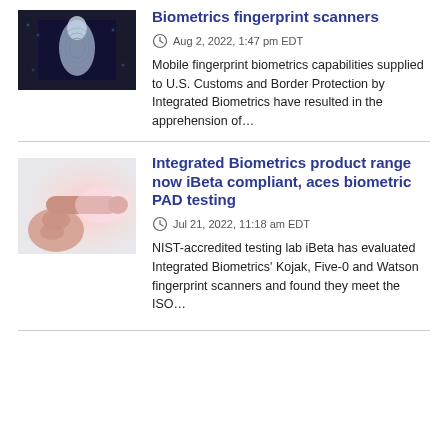[Figure (photo): Fingerprint biometrics close-up image with dark background]
Biometrics fingerprint scanners
Aug 2, 2022, 1:47 pm EDT
Mobile fingerprint biometrics capabilities supplied to U.S. Customs and Border Protection by Integrated Biometrics have resulted in the apprehension of…
[Figure (photo): Hand pointing with index finger on light background]
Integrated Biometrics product range now iBeta compliant, aces biometric PAD testing
Jul 21, 2022, 11:18 am EDT
NIST-accredited testing lab iBeta has evaluated Integrated Biometrics' Kojak, Five-0 and Watson fingerprint scanners and found they meet the ISO…